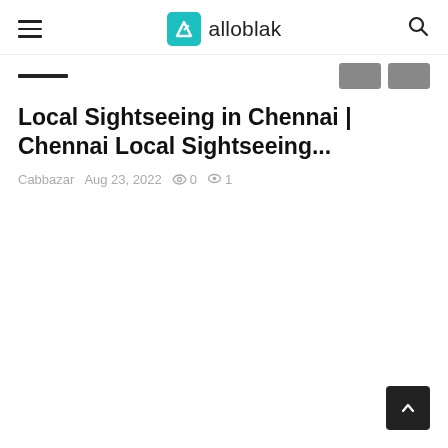alloblak
Local Sightseeing in Chennai | Chennai Local Sightseeing...
Cabbazar  Aug 23, 2022  0  1